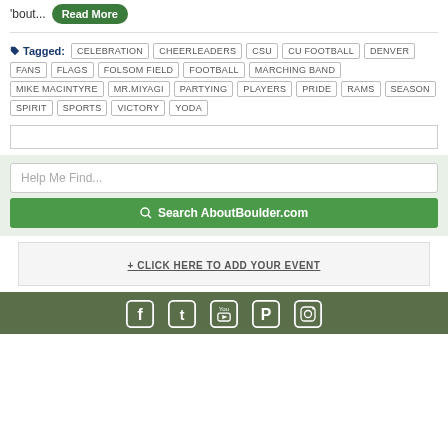'bout...  Read More
Tagged: CELEBRATION CHEERLEADERS CSU CU FOOTBALL DENVER FANS FLAGS FOLSOM FIELD FOOTBALL MARCHING BAND MIKE MACINTYRE MR.MIYAGI PARTYING PLAYERS PRIDE RAMS SEASON SPIRIT SPORTS VICTORY YODA
Help Me Find...
Search AboutBoulder.com
+ CLICK HERE TO ADD YOUR EVENT
[Figure (infographic): Social media icons row: Facebook, Twitter, YouTube, Pinterest, Instagram on dark green background]